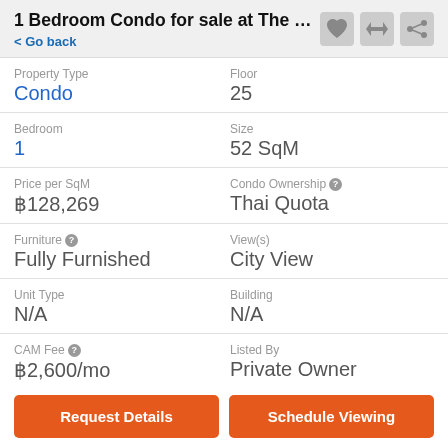1 Bedroom Condo for sale at The Vertica...
< Go back
| Property Type | Floor |
| --- | --- |
| Condo | 25 |
| Bedroom | Size |
| --- | --- |
| 1 | 52 SqM |
| Price per SqM | Condo Ownership |
| --- | --- |
| ฿128,269 | Thai Quota |
| Furniture | View(s) |
| --- | --- |
| Fully Furnished | City View |
| Unit Type | Building |
| --- | --- |
| N/A | N/A |
| CAM Fee | Listed By |
| --- | --- |
| ฿2,600/mo | Private Owner |
Request Details
Schedule Viewing